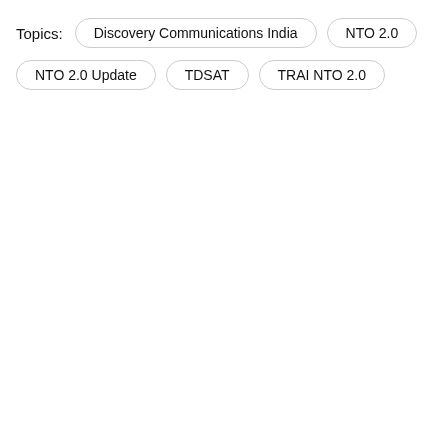Topics: Discovery Communications India  NTO 2.0  NTO 2.0 Update  TDSAT  TRAI NTO 2.0